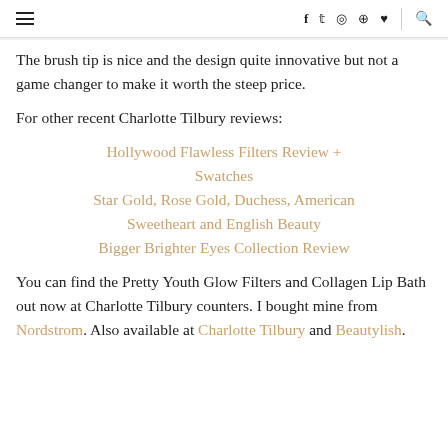≡  f  twitter  instagram  pinterest  ♥  |  search
The brush tip is nice and the design quite innovative but not a game changer to make it worth the steep price.
For other recent Charlotte Tilbury reviews:
Hollywood Flawless Filters Review + Swatches
Star Gold, Rose Gold, Duchess, American Sweetheart and English Beauty
Bigger Brighter Eyes Collection Review
You can find the Pretty Youth Glow Filters and Collagen Lip Bath out now at Charlotte Tilbury counters. I bought mine from Nordstrom. Also available at Charlotte Tilbury and Beautylish.